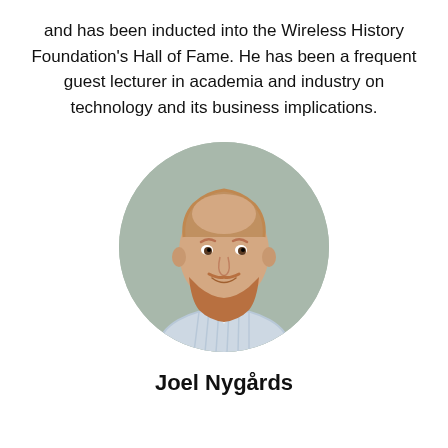and has been inducted into the Wireless History Foundation's Hall of Fame. He has been a frequent guest lecturer in academia and industry on technology and its business implications.
[Figure (photo): Circular headshot photo of Joel Nygårds, a man with reddish beard and short hair, wearing a light striped shirt, against a sage green background]
Joel Nygårds